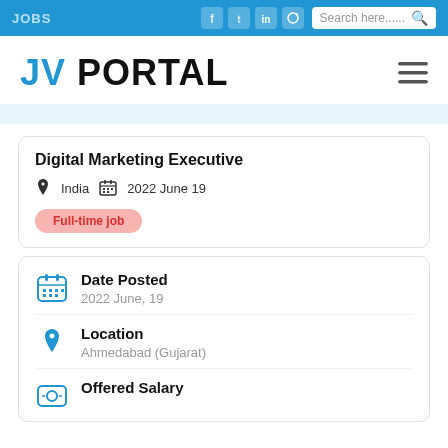JOBS
JV PORTAL
Digital Marketing Executive
India  2022 June 19
Full-time job
Date Posted
2022 June, 19
Location
Ahmedabad (Gujarat)
Offered Salary